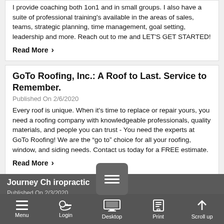I provide coaching both 1on1 and in small groups. I also have a suite of professional training's available in the areas of sales, teams, strategic planning, time management, goal setting, leadership and more. Reach out to me and LET'S GET STARTED!
Read More ›
GoTo Roofing, Inc.: A Roof to Last. Service to Remember.
Published On 2/6/2020
Every roof is unique. When it's time to replace or repair yours, you need a roofing company with knowledgeable professionals, quality materials, and people you can trust - You need the experts at GoTo Roofing! We are the “go to” choice for all your roofing, window, and siding needs. Contact us today for a FREE estimate.
Read More ›
Journey Chiropractic
Published On 2/3/2020
Menu  Login  Desktop  Print  Scroll up